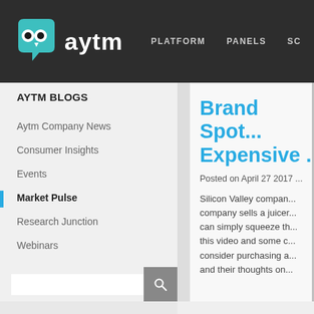[Figure (logo): AYTM owl logo with teal speech bubble and eyes, followed by 'aytm' text in white]
PLATFORM   PANELS   SC...
AYTM BLOGS
Aytm Company News
Consumer Insights
Events
Market Pulse
Research Junction
Webinars
Brand Spot... Expensive ...
Posted on April 27 2017
Silicon Valley company... company sells a juicer... can simply squeeze the... this video and some c... consider purchasing a... and their thoughts on...